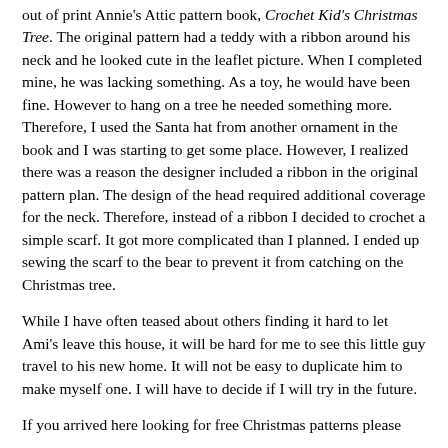out of print Annie's Attic pattern book, Crochet Kid's Christmas Tree. The original pattern had a teddy with a ribbon around his neck and he looked cute in the leaflet picture. When I completed mine, he was lacking something. As a toy, he would have been fine. However to hang on a tree he needed something more. Therefore, I used the Santa hat from another ornament in the book and I was starting to get some place. However, I realized there was a reason the designer included a ribbon in the original pattern plan. The design of the head required additional coverage for the neck. Therefore, instead of a ribbon I decided to crochet a simple scarf. It got more complicated than I planned. I ended up sewing the scarf to the bear to prevent it from catching on the Christmas tree.
While I have often teased about others finding it hard to let Ami's leave this house, it will be hard for me to see this little guy travel to his new home. It will not be easy to duplicate him to make myself one. I will have to decide if I will try in the future.
If you arrived here looking for free Christmas patterns please